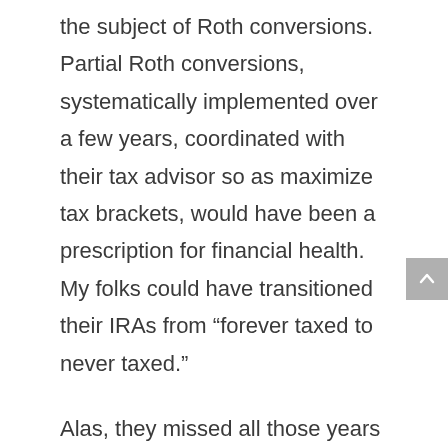the subject of Roth conversions. Partial Roth conversions, systematically implemented over a few years, coordinated with their tax advisor so as maximize tax brackets, would have been a prescription for financial health. My folks could have transitioned their IRAs from “forever taxed to never taxed.”
Alas, they missed all those years of maximum conversion tax efficiency. Yet they can still do Roth...